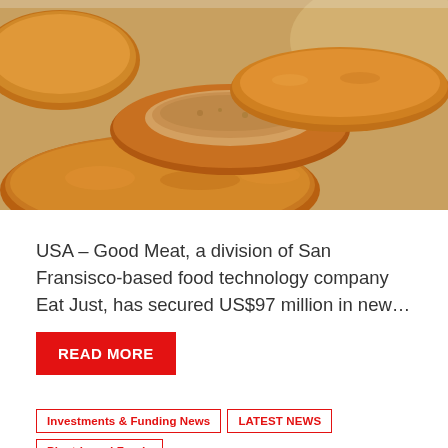[Figure (photo): Close-up photo of golden-brown fried food nuggets, one split open to show interior, stacked on a light surface]
USA – Good Meat, a division of San Fransisco-based food technology company Eat Just, has secured US$97 million in new…
READ MORE
Investments & Funding News
LATEST NEWS
Plant-based Foods
WORLD NEWS